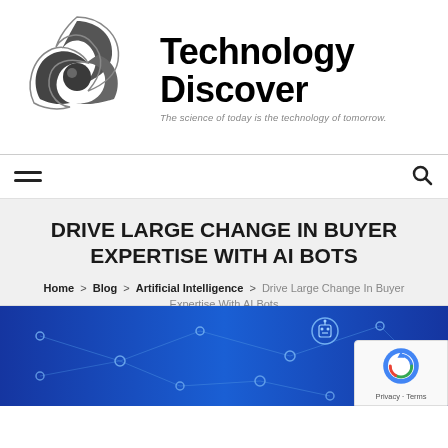[Figure (logo): Technology Discover website logo with stylized swirl icon and text 'Technology Discover' with tagline 'The science of today is the technology of tomorrow.']
[Figure (other): Navigation bar with hamburger menu icon on left and search icon on right]
DRIVE LARGE CHANGE IN BUYER EXPERTISE WITH AI BOTS
Home > Blog > Artificial Intelligence > Drive Large Change In Buyer Expertise With AI Bots
[Figure (photo): Blue technology/AI background image with network nodes, circuits and icons including a robot/AI avatar icon]